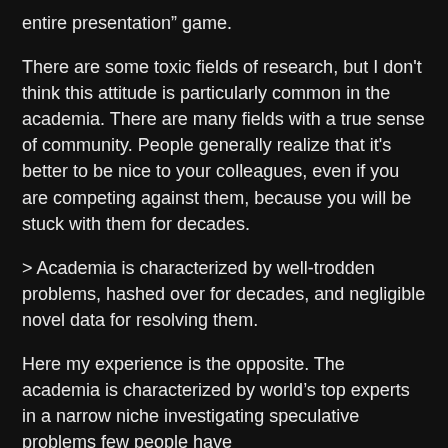entire presentation” game.
There are some toxic fields of research, but I don't think this attitude is particularly common in the academia. There are many fields with a true sense of community. People generally realize that it's better to be nice to your colleagues, even if you are competing against them, because you will be stuck with them for decades.
> Academia is characterized by well-trodden problems, hashed over for decades, and negligible novel data for resolving them.
Here my experience is the opposite. The academia is characterized by world’s top experts in a narrow niche investigating speculative problems few people have